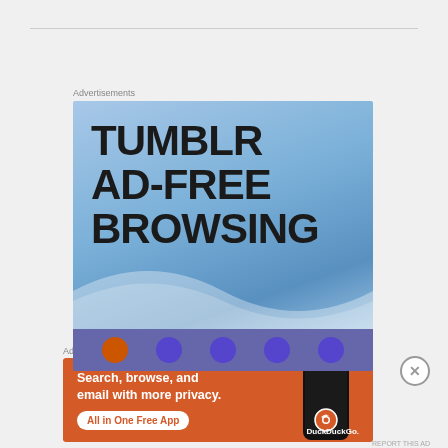[Figure (screenshot): Tumblr ad-free browsing advertisement with blue gradient background and large bold text reading TUMBLR AD-FREE BROWSING]
Advertisements
[Figure (screenshot): DuckDuckGo advertisement on orange background: Search, browse, and email with more privacy. All in One Free App. Shows phone with DuckDuckGo logo.]
Advertisements